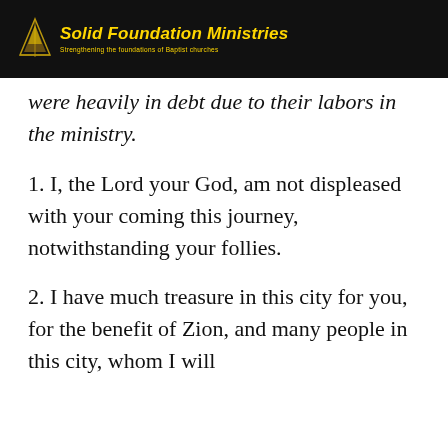Solid Foundation Ministries — Strengthening the foundations of Baptist churches
were heavily in debt due to their labors in the ministry.
1. I, the Lord your God, am not displeased with your coming this journey, notwithstanding your follies.
2. I have much treasure in this city for you, for the benefit of Zion, and many people in this city, whom I will